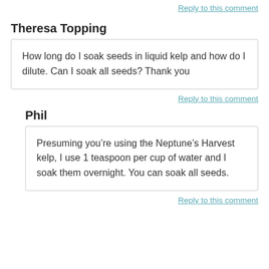Reply to this comment
Theresa Topping
How long do I soak seeds in liquid kelp and how do I dilute. Can I soak all seeds? Thank you
Reply to this comment
Phil
Presuming you’re using the Neptune’s Harvest kelp, I use 1 teaspoon per cup of water and I soak them overnight. You can soak all seeds.
Reply to this comment